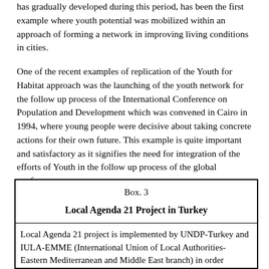has gradually developed during this period, has been the first example where youth potential was mobilized within an approach of forming a network in improving living conditions in cities.
One of the recent examples of replication of the Youth for Habitat approach was the launching of the youth network for the follow up process of the International Conference on Population and Development which was convened in Cairo in 1994, where young people were decisive about taking concrete actions for their own future. This example is quite important and satisfactory as it signifies the need for integration of the efforts of Youth in the follow up process of the global conferences.
Box. 3
Local Agenda 21 Project in Turkey
Local Agenda 21 project is implemented by UNDP-Turkey and IULA-EMME (International Union of Local Authorities-Eastern Mediterranean and Middle East branch) in order